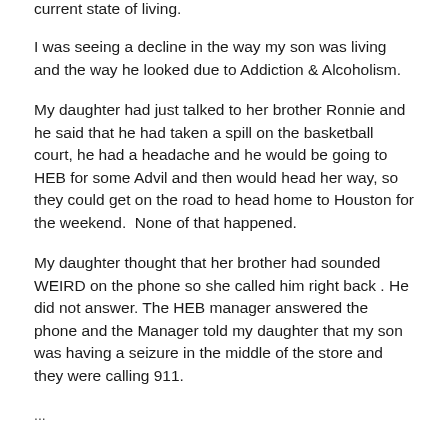current state of living.
I was seeing a decline in the way my son was living and the way he looked due to Addiction & Alcoholism.
My daughter had just talked to her brother Ronnie and he said that he had taken a spill on the basketball court, he had a headache and he would be going to HEB for some Advil and then would head her way, so they could get on the road to head home to Houston for the weekend.  None of that happened.
My daughter thought that her brother had sounded WEIRD on the phone so she called him right back . He did not answer. The HEB manager answered the phone and the Manager told my daughter that my son was having a seizure in the middle of the store and they were calling 911.
...